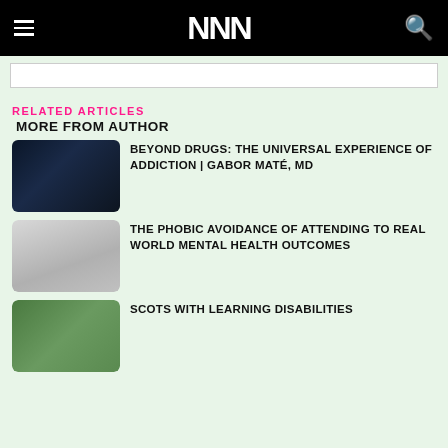NNN
RELATED ARTICLES
MORE FROM AUTHOR
[Figure (photo): Dark photo related to addiction article]
BEYOND DRUGS: THE UNIVERSAL EXPERIENCE OF ADDICTION | GABOR MATÉ, MD
[Figure (photo): Man plugging his ears, related to phobia/mental health article]
THE PHOBIC AVOIDANCE OF ATTENDING TO REAL WORLD MENTAL HEALTH OUTCOMES
[Figure (photo): Outdoor group photo related to Scots with learning disabilities article]
SCOTS WITH LEARNING DISABILITIES